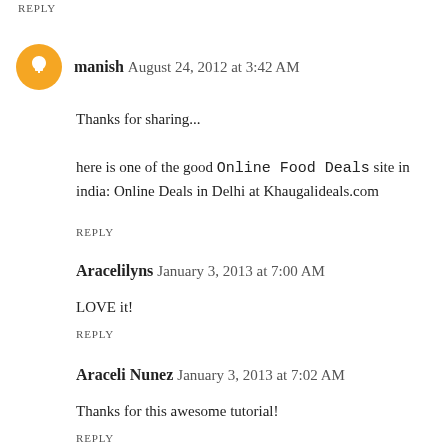REPLY
manish  August 24, 2012 at 3:42 AM
Thanks for sharing...
here is one of the good Online Food Deals site in india: Online Deals in Delhi at Khaugalideals.com
REPLY
Aracelilyns  January 3, 2013 at 7:00 AM
LOVE it!
REPLY
Araceli Nunez  January 3, 2013 at 7:02 AM
Thanks for this awesome tutorial!
REPLY